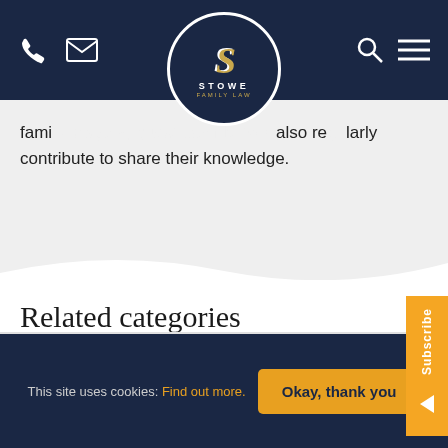Stowe Family Law — navigation bar with phone, email icons, logo, search, and menu
family lawyers, guest contributors also regularly contribute to share their knowledge.
Related categories
Children
This site uses cookies: Find out more.  Okay, thank you